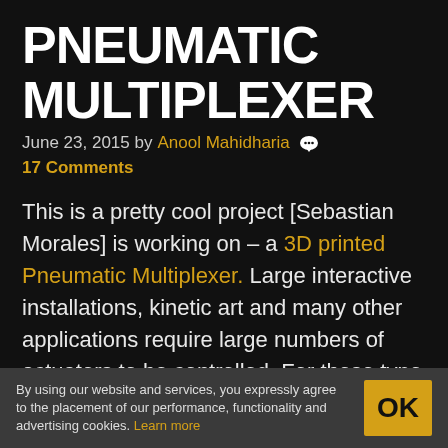PNEUMATIC MULTIPLEXER
June 23, 2015 by Anool Mahidharia 💬 17 Comments
This is a pretty cool project [Sebastian Morales] is working on – a 3D printed Pneumatic Multiplexer. Large interactive installations, kinetic art and many other applications require large numbers of actuators to be controlled. For these type of projects to work, a large number of
By using our website and services, you expressly agree to the placement of our performance, functionality and advertising cookies. Learn more